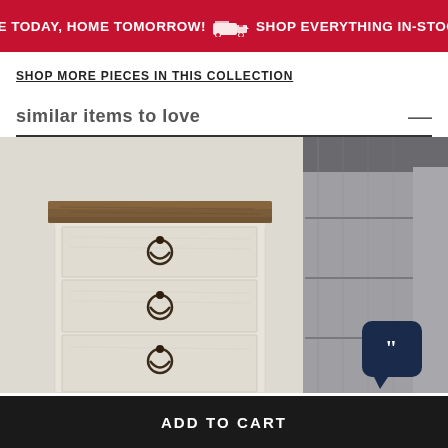HERE TODAY, HOME TOMORROW! SHOP EVERYTHING IN-STOCK
SHOP MORE PIECES IN THIS COLLECTION
similar items to love
[Figure (photo): Whitewash finish nightstand with brown wood top and three drawers with dark ring pulls]
[Figure (photo): Gray wood finish dresser partially visible on the right side]
ADD TO CART